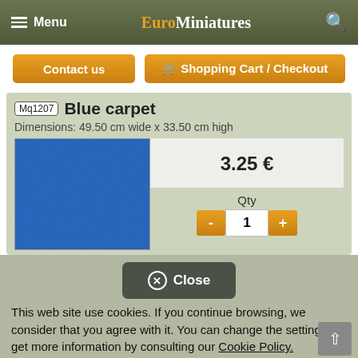Menu | EuroMiniatures | Search
Contact us | Shopping Cart / Checkout
Mq1207 Blue carpet
Dimensions: 49.50 cm wide x 33.50 cm high
[Figure (photo): Blue carpet texture swatch, solid blue color]
3.25 €
Qty
- 1 +
✕ Close
This web site use cookies. If you continue browsing, we consider that you agree with it. You can change the settings or get more information by consulting our Cookie Policy.